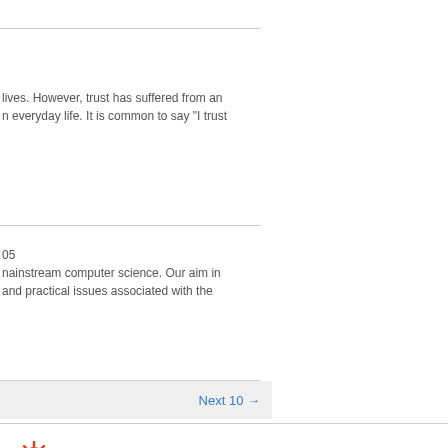lives. However, trust has suffered from an everyday life. It is common to say “I trust
05
mainstream computer science. Our aim in and practical issues associated with the
Next 10 →
[Figure (logo): Apache Solr logo with orange sunburst icon and grey 'Solr' text]